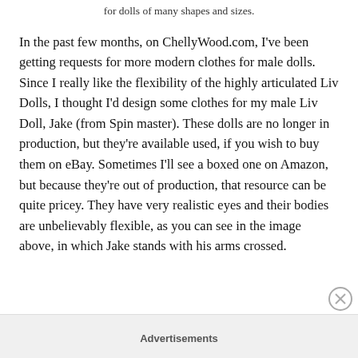Visit ChellyWood.com for free, printable sewing patterns for dolls of many shapes and sizes.
In the past few months, on ChellyWood.com, I've been getting requests for more modern clothes for male dolls. Since I really like the flexibility of the highly articulated Liv Dolls, I thought I'd design some clothes for my male Liv Doll, Jake (from Spin master). These dolls are no longer in production, but they're available used, if you wish to buy them on eBay. Sometimes I'll see a boxed one on Amazon, but because they're out of production, that resource can be quite pricey. They have very realistic eyes and their bodies are unbelievably flexible, as you can see in the image above, in which Jake stands with his arms crossed.
Advertisements